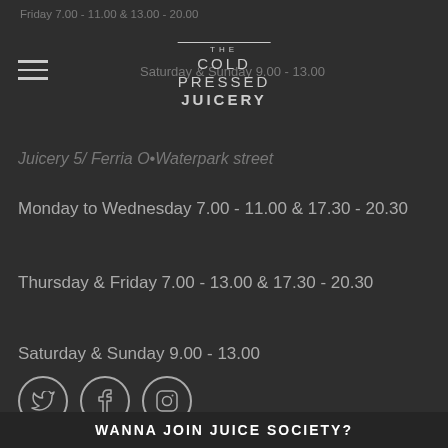Friday 7.00 - 11.00 & 13.00 - 20.00
Saturday & Sunday 9.00 - 13.00
THE COLD PRESSED JUICERY
Juicery 5/ Ferria O - Waterpark street
Monday to Wednesday 7.00 - 11.00 & 17.30 - 20.30
Thursday & Friday 7.00 - 13.00 & 17.30 - 20.30
Saturday & Sunday 9.00 - 13.00
[Figure (illustration): Social media icons: Twitter bird, Facebook F, Instagram camera in circular outlines]
WANNA JOIN JUICE SOCIETY?